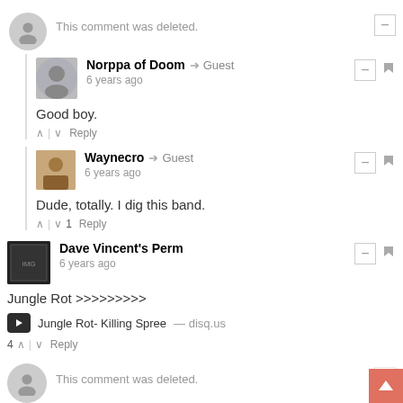This comment was deleted.
Norppa of Doom → Guest
6 years ago
Good boy.
Waynecro → Guest
6 years ago
Dude, totally. I dig this band.
Dave Vincent's Perm
6 years ago
Jungle Rot >>>>>>>>>
Jungle Rot- Killing Spree — disq.us
This comment was deleted.